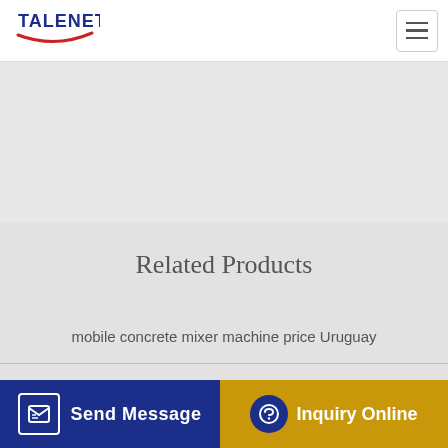TALENET
[Figure (illustration): Light gray hero/banner area below the navigation header]
Related Products
mobile concrete mixer machine price Uruguay
Macons Semi Mobile Concrete Batching Plant MASM YouTube
New truck mixer for Hanson UK World Cement
buy exquisite concrete mixer and loader